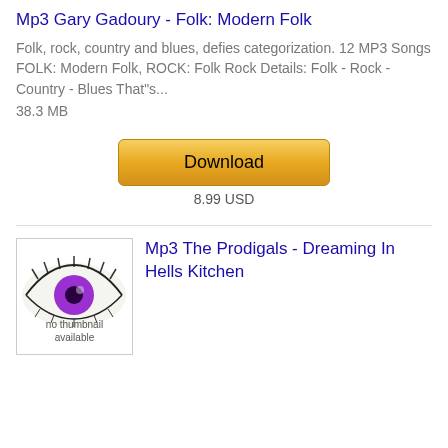Mp3 Gary Gadoury - Folk: Modern Folk
Folk, rock, country and blues, defies categorization. 12 MP3 Songs FOLK: Modern Folk, ROCK: Folk Rock Details: Folk - Rock - Country - Blues That"s...
38.3 MB
[Figure (other): Download button (gold/yellow gradient) with price label '8.99 USD' below]
8.99 USD
[Figure (photo): Album thumbnail placeholder showing a purple eye on white background with 'no thumbnail available' text]
Mp3 The Prodigals - Dreaming In Hells Kitchen